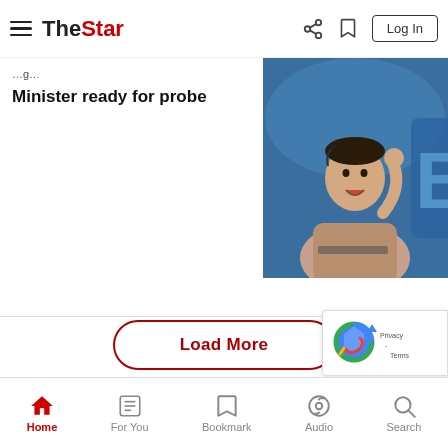The Star - Log In
Minister ready for probe
[Figure (photo): Man with microphone headset, raised fist, speaking on stage with blue background]
Load More
[Figure (other): reCAPTCHA badge with Privacy and Terms links]
Home | For You | Bookmark | Audio | Search